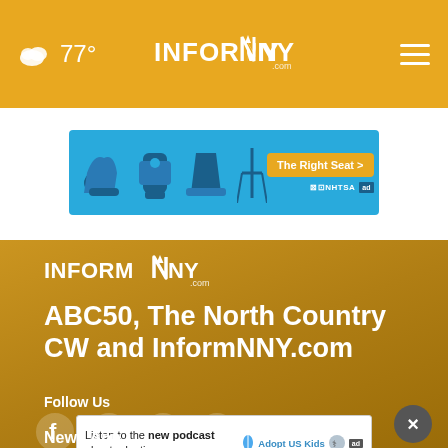☁ 77° | InformNNY.com | ≡
[Figure (screenshot): NHTSA car seat safety advertisement banner with blue background showing child car seat icons and 'The Right Seat >' button]
[Figure (logo): InformNNY.com logo in white on golden background]
ABC50, The North Country CW and InformNNY.com
Follow Us
[Figure (infographic): Social media icons: Facebook, Twitter, Instagram, Email]
[Figure (screenshot): Ad: Listen to the new podcast about adoption. Adopt US Kids logo.]